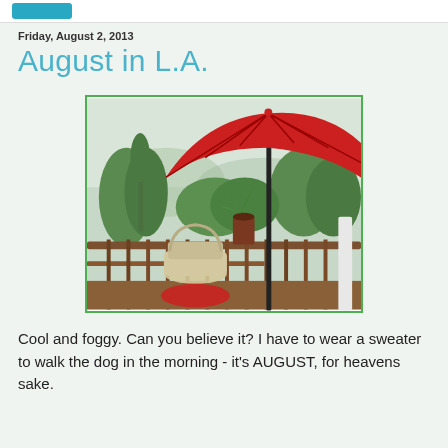Friday, August 2, 2013
August in L.A.
[Figure (photo): A foggy day on a wooden deck in L.A. A large red patio umbrella dominates the upper right. Lush green trees and shrubs fill the background, partially obscured by morning fog. A white wicker chair and red cushion are visible in the lower center. Wooden deck railing runs along the bottom.]
Cool and foggy. Can you believe it? I have to wear a sweater to walk the dog in the morning - it's AUGUST, for heavens sake.